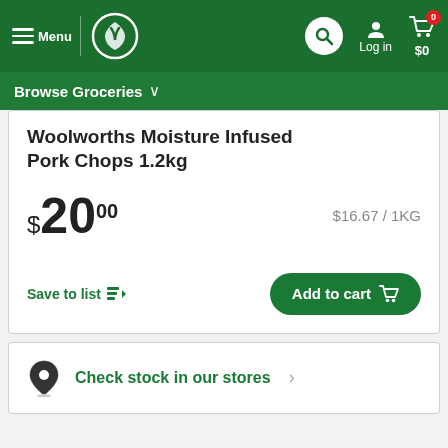Menu | Woolworths logo | Search | Log in | 0 $0
Browse Groceries
Woolworths Moisture Infused Pork Chops 1.2kg
$20.00   $16.67 / 1KG
Save to list   Add to cart
Check stock in our stores